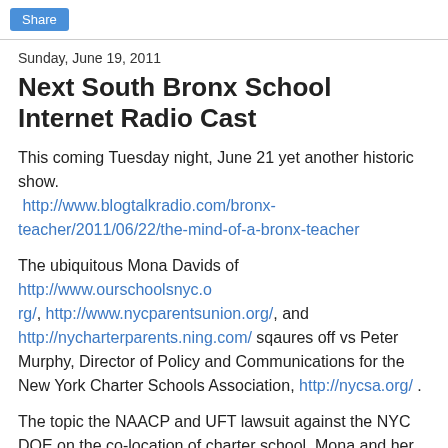Share
Sunday, June 19, 2011
Next South Bronx School Internet Radio Cast
This coming Tuesday night, June 21 yet another historic show. http://www.blogtalkradio.com/bronx-teacher/2011/06/22/the-mind-of-a-bronx-teacher
The ubiquitous Mona Davids of http://www.ourschoolsnyc.org/, http://www.nycparentsunion.org/, and http://nycharterparents.ning.com/ sqaures off vs Peter Murphy, Director of Policy and Communications for the New York Charter Schools Association, http://nycsa.org/ .
The topic the NAACP and UFT lawsuit against the NYC DOE on the co-location of charter school. Mona and her organization NYC Parents Union have joined forces and filed a lawsuit as well vs the NYC DOE. This surely will make for